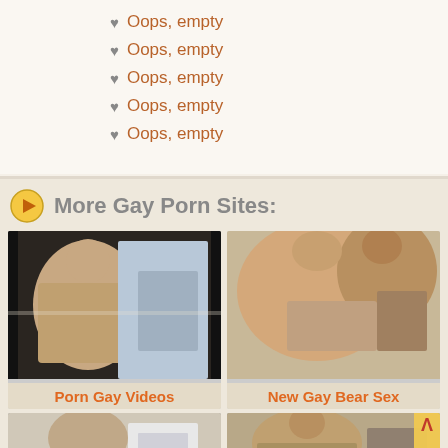♥ Oops, empty
♥ Oops, empty
♥ Oops, empty
♥ Oops, empty
♥ Oops, empty
More Gay Porn Sites:
[Figure (photo): Thumbnail image for Porn Gay Videos]
Porn Gay Videos
[Figure (photo): Thumbnail image for New Gay Bear Sex]
New Gay Bear Sex
[Figure (photo): Bottom left thumbnail]
[Figure (photo): Bottom right thumbnail with arrow badge]